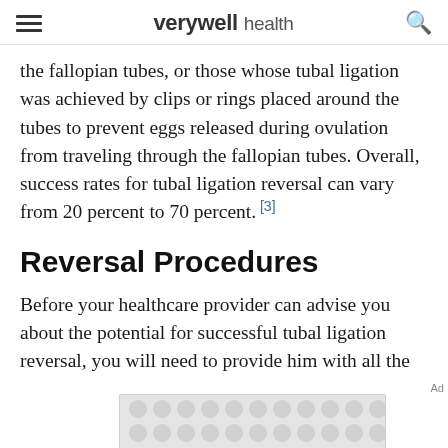verywell health
the fallopian tubes, or those whose tubal ligation was achieved by clips or rings placed around the tubes to prevent eggs released during ovulation from traveling through the fallopian tubes. Overall, success rates for tubal ligation reversal can vary from 20 percent to 70 percent. [3]
Reversal Procedures
Before your healthcare provider can advise you about the potential for successful tubal ligation reversal, you will need to provide him with all the facts and records from your tubal ligation
[Figure (other): Advertisement banner with decorative circular pattern in light grey]